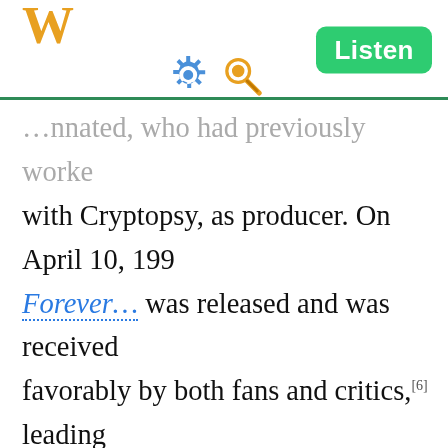W  [gear icon] [search icon]  Listen
...nnated, who had previously worked with Cryptopsy, as producer. On April 10, 199 Forever... was released and was received favorably by both fans and critics,[6] leading Earth AD Records in Germany and Immortal Records in Poland to sign licensing deals with Quo Vadis.[4] Bart said of the album, "We recorded a demo which was released as an EP on cassette last year. The reaction was very positive. We were still searching for direction at that time, experimenting with keyboards